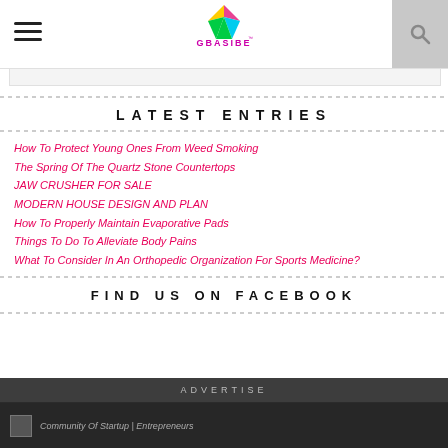GBASIBE — navigation header with hamburger menu and search icon
[Figure (logo): GBASIBE logo with colorful leaf/flower graphic and pink brand name text]
LATEST ENTRIES
How To Protect Young Ones From Weed Smoking
The Spring Of The Quartz Stone Countertops
JAW CRUSHER FOR SALE
MODERN HOUSE DESIGN AND PLAN
How To Properly Maintain Evaporative Pads
Things To Do To Alleviate Body Pains
What To Consider In An Orthopedic Organization For Sports Medicine?
FIND US ON FACEBOOK
ADVERTISE
Community Of Startup | Entrepreneurs